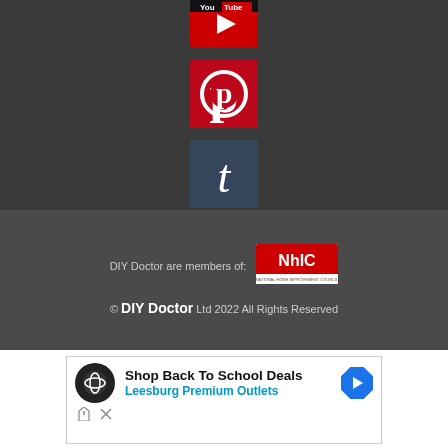[Figure (logo): YouTube logo icon - partial, cropped at top]
[Figure (logo): Pinterest logo - white P on red background]
[Figure (logo): Tumblr logo - white t on steel blue background]
DIY Doctor are members of:
[Figure (logo): NHIC - National Home Improvement Council logo]
© DIY Doctor Ltd 2022 All Rights Reserved
[Figure (screenshot): Advertisement: Shop Back To School Deals - Leesburg Premium Outlets]